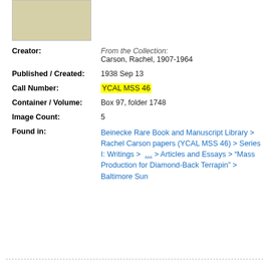[Figure (photo): Partial view of a yellowed/beige document page thumbnail]
Creator: From the Collection: Carson, Rachel, 1907-1964
Published / Created: 1938 Sep 13
Call Number: YCAL MSS 46
Container / Volume: Box 97, folder 1748
Image Count: 5
Found in: Beinecke Rare Book and Manuscript Library > Rachel Carson papers (YCAL MSS 46) > Series I: Writings > ... > Articles and Essays > "Mass Production for Diamond-Back Terrapin" > Baltimore Sun